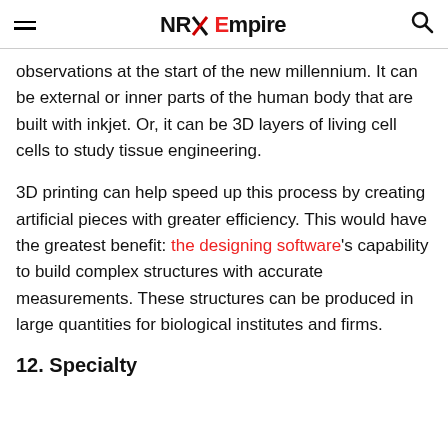NRX Empire
observations at the start of the new millennium. It can be external or inner parts of the human body that are built with inkjet. Or, it can be 3D layers of living cell cells to study tissue engineering.
3D printing can help speed up this process by creating artificial pieces with greater efficiency. This would have the greatest benefit: the designing software's capability to build complex structures with accurate measurements. These structures can be produced in large quantities for biological institutes and firms.
12. Specialty